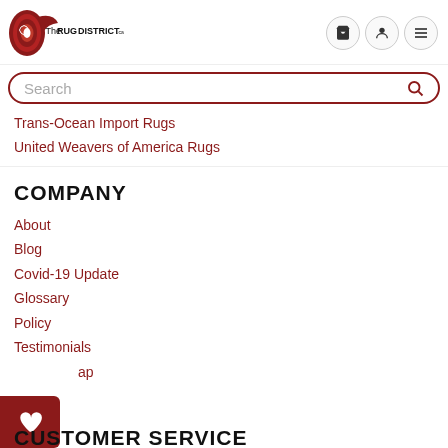[Figure (logo): The Rug District logo with red rug roll graphic and text]
Search
Trans-Ocean Import Rugs
United Weavers of America Rugs
COMPANY
About
Blog
Covid-19 Update
Glossary
Policy
Testimonials
Sitemap
CUSTOMER SERVICE